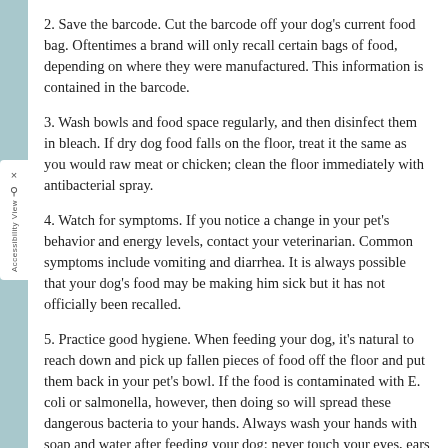2. Save the barcode. Cut the barcode off your dog's current food bag. Oftentimes a brand will only recall certain bags of food, depending on where they were manufactured. This information is contained in the barcode.
3. Wash bowls and food space regularly, and then disinfect them in bleach. If dry dog food falls on the floor, treat it the same as you would raw meat or chicken; clean the floor immediately with antibacterial spray.
4. Watch for symptoms. If you notice a change in your pet's behavior and energy levels, contact your veterinarian. Common symptoms include vomiting and diarrhea. It is always possible that your dog's food may be making him sick but it has not officially been recalled.
5. Practice good hygiene. When feeding your dog, it's natural to reach down and pick up fallen pieces of food off the floor and put them back in your pet's bowl. If the food is contaminated with E. coli or salmonella, however, then doing so will spread these dangerous bacteria to your hands. Always wash your hands with soap and water after feeding your dog; never touch your eyes, ears or mouth with unwashed hands.